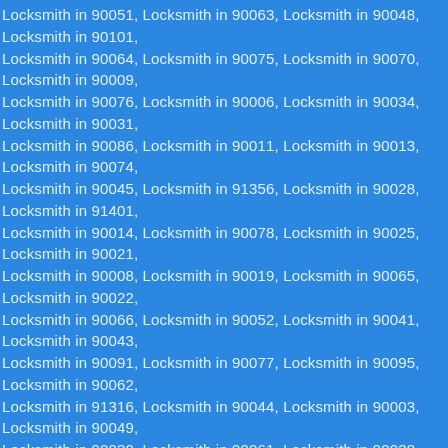Locksmith in 90051, Locksmith in 90063, Locksmith in 90048, Locksmith in 90101, Locksmith in 90064, Locksmith in 90075, Locksmith in 90070, Locksmith in 90009, Locksmith in 90076, Locksmith in 90006, Locksmith in 90034, Locksmith in 90031, Locksmith in 90086, Locksmith in 90011, Locksmith in 90013, Locksmith in 90074, Locksmith in 90045, Locksmith in 91356, Locksmith in 90028, Locksmith in 91401, Locksmith in 90014, Locksmith in 90078, Locksmith in 90025, Locksmith in 90021, Locksmith in 90008, Locksmith in 90019, Locksmith in 90065, Locksmith in 90022, Locksmith in 90066, Locksmith in 90052, Locksmith in 90041, Locksmith in 90043, Locksmith in 90091, Locksmith in 90077, Locksmith in 90095, Locksmith in 90062, Locksmith in 91316, Locksmith in 90044, Locksmith in 90003, Locksmith in 90049, Locksmith in 90030, Locksmith in 90061, Locksmith in 90038, Locksmith in 90012, Locksmith in 90089, Locksmith in 90039, Locksmith in 90087, Locksmith in 90072, Locksmith in 90055, Locksmith in 90026, Locksmith in 90083, Locksmith in 90042, Locksmith in 90071, Locksmith in 90067, Locksmith in 90059, Locksmith in 90005, Locksmith in 90032, Locksmith in 90053, Locksmith in 90046, Locksmith in 90023, Locksmith in 90037, Locksmith in 90082, Locksmith in 90036, Locksmith in 90002, Locksmith in 90073, Locksmith in 90099, Locksmith in 90040, Locksmith in 90056, Locksmith in 90068, Locksmith in 91307, Locksmith in 90027, Locksmith in 90020, Locksmith in 90189, Locksmith in 90103, Locksmith in 90081, Locksmith in 90010